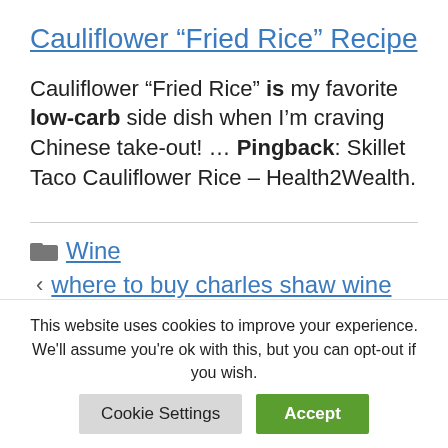Cauliflower “Fried Rice” Recipe
Cauliflower “Fried Rice” is my favorite low-carb side dish when I’m craving Chinese take-out! … Pingback: Skillet Taco Cauliflower Rice – Health2Wealth.
Wine
where to buy charles shaw wine
This website uses cookies to improve your experience. We’ll assume you’re ok with this, but you can opt-out if you wish.